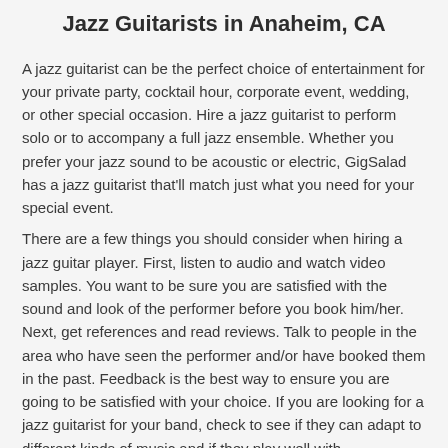Jazz Guitarists in Anaheim, CA
A jazz guitarist can be the perfect choice of entertainment for your private party, cocktail hour, corporate event, wedding, or other special occasion. Hire a jazz guitarist to perform solo or to accompany a full jazz ensemble. Whether you prefer your jazz sound to be acoustic or electric, GigSalad has a jazz guitarist that'll match just what you need for your special event.
There are a few things you should consider when hiring a jazz guitar player. First, listen to audio and watch video samples. You want to be sure you are satisfied with the sound and look of the performer before you book him/her. Next, get references and read reviews. Talk to people in the area who have seen the performer and/or have booked them in the past. Feedback is the best way to ensure you are going to be satisfied with your choice. If you are looking for a jazz guitarist for your band, check to see if they can adapt to different kinds of music and if they play well with